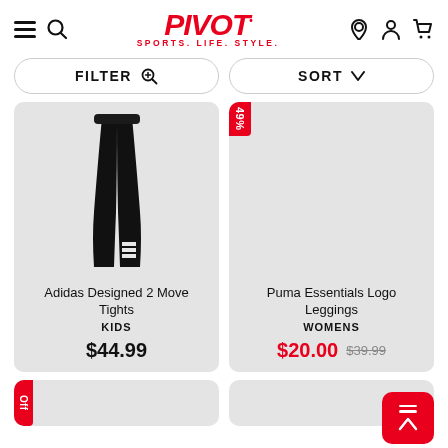PIVOT SPORTS. LIFE. STYLE. - navigation header
FILTER  SORT
[Figure (photo): Adidas black tights/leggings product image on gray background]
Adidas Designed 2 Move Tights
KIDS
$44.99
[Figure (photo): Puma Essentials Logo Leggings product image on gray background, 49% off sale badge]
Puma Essentials Logo Leggings
WOMENS
$20.00  $39.99